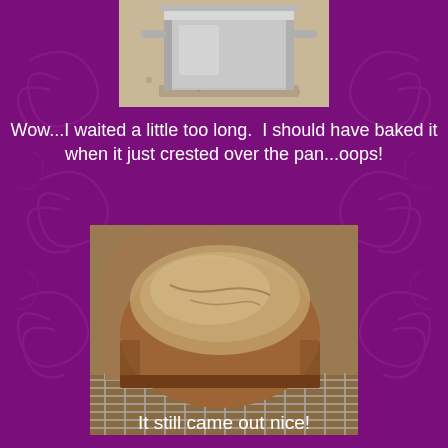[Figure (photo): Top portion of a silver/metal bread loaf pan on a granite countertop, viewed from the side, partially cropped]
Wow...I waited a little too long.  I should have baked it when it just crested over the pan...oops!
[Figure (photo): A baked whole wheat bread loaf with a rounded top dusted with flour, sitting on a wire cooling rack. The crust has cracks on top indicating it over-proofed.]
It still came out nice!